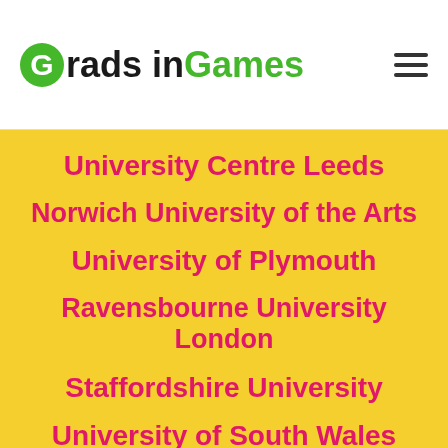Grads in Games
University Centre Leeds
Norwich University of the Arts
University of Plymouth
Ravensbourne University London
Staffordshire University
University of South Wales
University of Sunderland